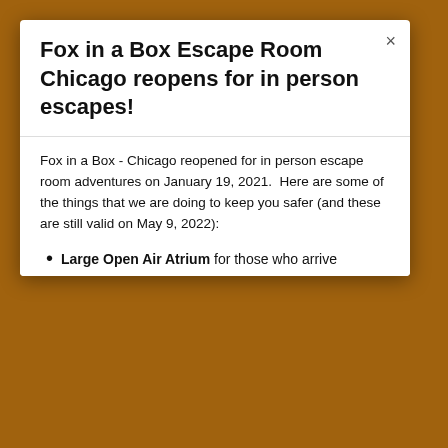Fox in a Box Escape Room Chicago reopens for in person escapes!
Fox in a Box - Chicago reopened for in person escape room adventures on January 19, 2021.  Here are some of the things that we are doing to keep you safer (and these are still valid on May 9, 2022):
Private Rooms - all our rooms are private, like they
This website uses cookies to ensure you get the best experience on our website.
Learn more
Got it!
Large Open Air Atrium for those who arrive